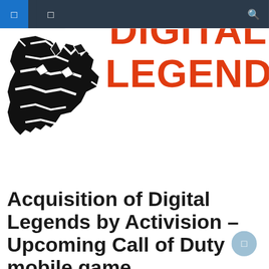☰ ☰  🔍
[Figure (logo): Digital Legends logo — black abstract figure illustration on left, bold orange text 'DIGITAL LEGENDS' on right]
Acquisition of Digital Legends by Activision – Upcoming Call of Duty mobile game
Activision aims to accelerate the development of its new mobile game coming to the Call of Duty universe by acquiring Digital Legends.
Via a press release and tweet, Activision welcomed mobile